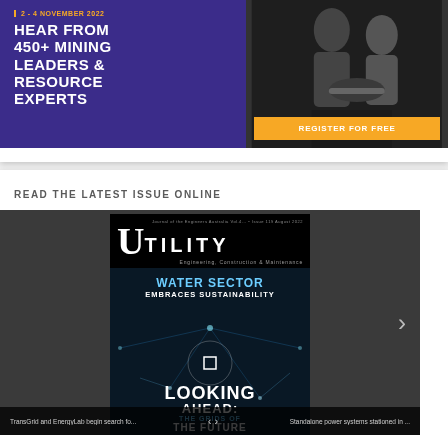[Figure (illustration): Advertisement banner for a mining conference: '2 - 4 November 2022, Hear from 450+ Mining Leaders & Resource Experts' with an orange 'Register for Free' button on a purple background, alongside a dark photo of people shaking hands.]
READ THE LATEST ISSUE ONLINE
[Figure (photo): Magazine viewer showing the cover of Utility: Engineering, Construction & Maintenance magazine. Cover features the Utility logo, text 'Water Sector Embraces Sustainability' and 'Looking Ahead: The Grids of the Future' over a dark network map image. A right navigation arrow is visible, and the bottom bar shows article teasers: 'TransGrid and EnergyLab begin search fo...' and 'Standalone power systems stationed in ...']